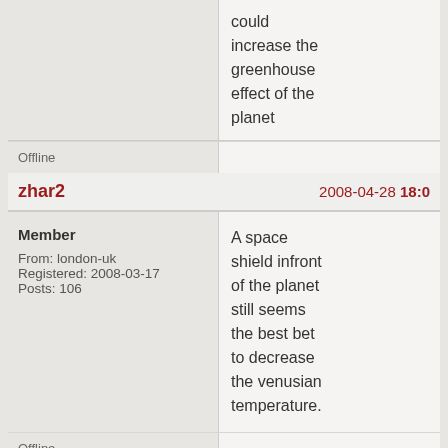could increase the greenhouse effect of the planet
Offline
zhar2   2008-04-28 18:0
Member
From: london-uk
Registered: 2008-03-17
Posts: 106
A space shield infront of the planet still seems the best bet to decrease the venusian temperature.
Offline
Gregori   2008-04-28 19:0
Member